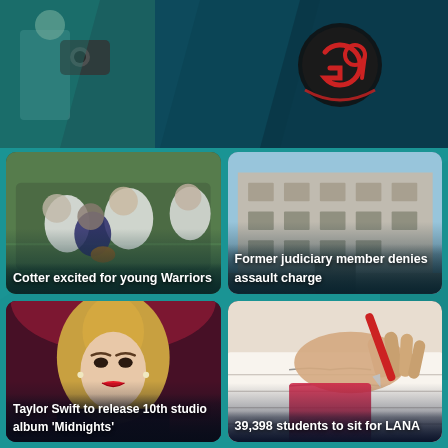[Figure (screenshot): News app header with a rugby/sports photo on the left and a circular logo (G9 or similar) on the right, on a dark teal background]
[Figure (photo): Rugby players in a scrum/tackle, players wearing black and white uniforms, dynamic action shot on a sports field]
Cotter excited for young Warriors
[Figure (photo): Grey multi-storey government/court building photographed from outside under blue sky]
Former judiciary member denies assault charge
[Figure (photo): Taylor Swift performing, blonde hair up, red lipstick, wearing pearl earrings, on a dimly lit stage]
Taylor Swift to release 10th studio album 'Midnights'
[Figure (photo): Close-up of a student's hand holding a red pen and writing on paper]
39,398 students to sit for LANA